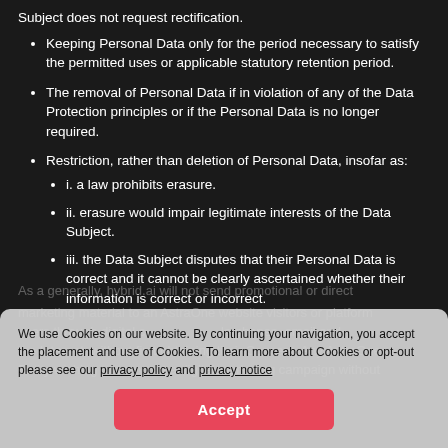Subject does not request rectification.
Keeping Personal Data only for the period necessary to satisfy the permitted uses or applicable statutory retention period.
The removal of Personal Data if in violation of any of the Data Protection principles or if the Personal Data is no longer required.
Restriction, rather than deletion of Personal Data, insofar as:
i. a law prohibits erasure.
ii. erasure would impair legitimate interests of the Data Subject.
iii. the Data Subject disputes that their Personal Data is correct and it cannot be clearly ascertained whether their information is correct or incorrect.
We use Cookies on our website. By continuing your navigation, you accept the placement and use of Cookies. To learn more about Cookies or opt-out please see our privacy policy and privacy notice
Accept